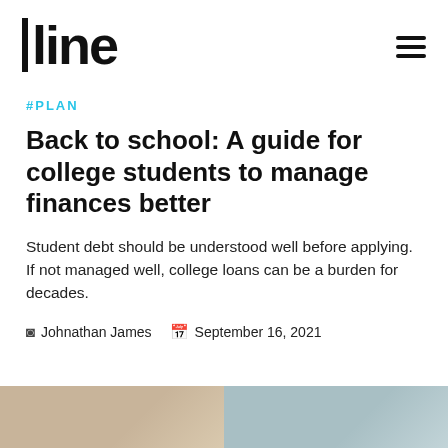line
#PLAN
Back to school: A guide for college students to manage finances better
Student debt should be understood well before applying. If not managed well, college loans can be a burden for decades.
Johnathan James  September 16, 2021
[Figure (photo): Two photo thumbnails at the bottom of the page, one brownish-tan and one blue-grey]